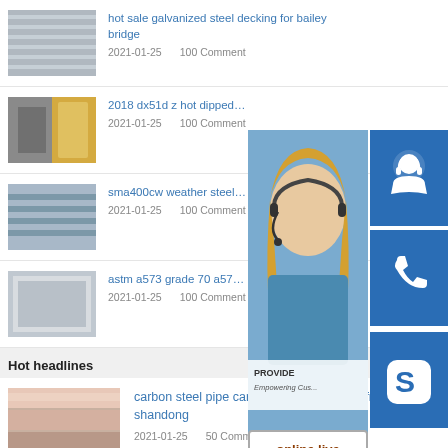hot sale galvanized steel decking for bailey bridge
2021-01-25   100 Comment
2018 dx51d z hot dipped sheet c...
2021-01-25   100 Comment
sma400cw weather steel for cont...
2021-01-25   100 Comment
astm a573 grade 70 a573 gr70 s...
2021-01-25   100 Comment
[Figure (infographic): Customer support overlay panel with 24/7 badge, woman with headset photo, headset icon, phone icon, Skype icon, online live button]
Hot headlines
carbon steel pipe carbon steel pipe direct from shandong
2021-01-25   50 Comment
sheet construction material corrugated steel plate